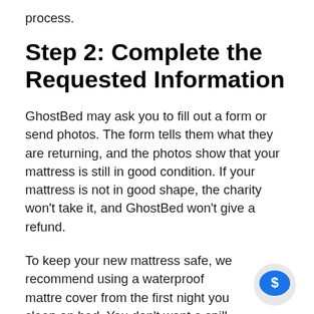process.
Step 2: Complete the Requested Information
GhostBed may ask you to fill out a form or send photos. The form tells them what they are returning, and the photos show that your mattress is still in good condition. If your mattress is not in good shape, the charity won't take it, and GhostBed won't give a refund.
To keep your new mattress safe, we recommend using a waterproof mattre cover from the first night you sleep on bed. You don't want a spill to ruin the
[Figure (illustration): A circular chat bubble icon with a dollar sign inside, in blue on a light grey background.]